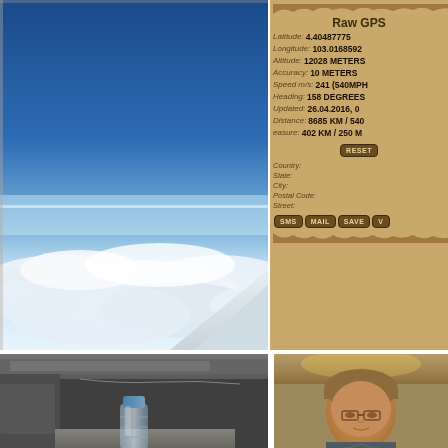[Figure (photo): View from airplane window showing blue sky, horizon haze layer, clouds below, and airplane wing visible at right]
[Figure (screenshot): Raw GPS app screenshot on brown/tan background showing: Latitude 4.40487775, Longitude 103.0168592, Altitude 12028 METERS, Accuracy 10 METERS, Speed m/s: 241 (540MPH), Heading: 158 DEGREES, Updated: 26.04.2016 0..., Distance: 8685 KM / 540..., ...easure: 402 KM / 250 M..., RESET button, Country, State, City, Postal Code, Street fields, SMS MAIL SAVE V... buttons]
[Figure (photo): Interior of airplane cabin showing overhead storage, seat back, tray table area, and a clear plastic water bottle with blue cap on tray]
[Figure (photo): Selfie photo of a man with glasses inside an airplane cabin with warm yellow lighting]